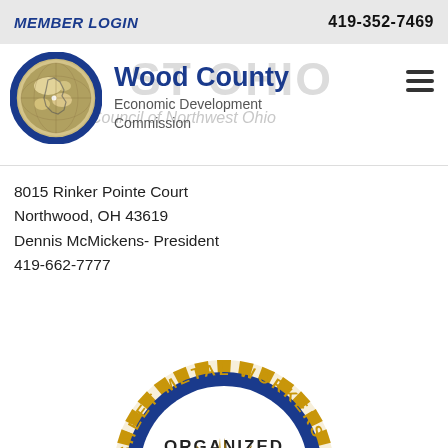MEMBER LOGIN    419-352-7469
[Figure (logo): Wood County Economic Development Commission circular globe logo with blue border, showing map outline]
Wood County Economic Development Commission
8015 Rinker Pointe Court
Northwood, OH 43619
Dennis McMickens- President
419-662-7777
http://www.scnwo.com
dmcmickens@scnwo.com
[Figure (logo): Sheet Metal Workers union circular logo with blue ring, gold sunburst border, text 'SHEET METAL WORKERS ORGANIZED' and wheat/feather emblem in center]